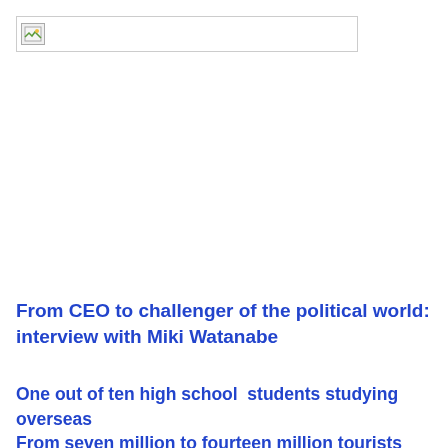[Figure (other): Placeholder image icon with a broken/missing image symbol inside a rectangular border]
From CEO to challenger of the political world: interview with Miki Watanabe
One out of ten high school  students studying overseas
From seven million to fourteen million tourists